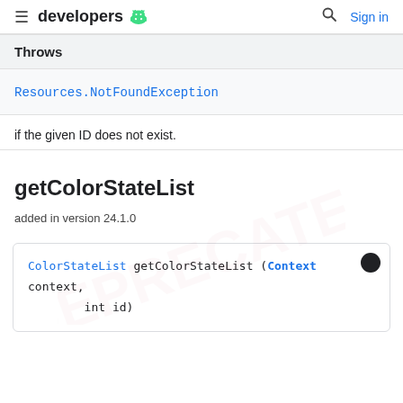≡ developers 🤖  🔍 Sign in
Throws
Resources.NotFoundException
if the given ID does not exist.
getColorStateList
added in version 24.1.0
ColorStateList getColorStateList (Context context,
        int id)